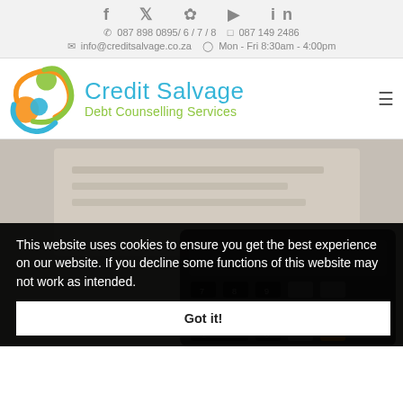f  ❧  ⊕  ▶  in
📞 087 898 0895/ 6 / 7 / 8   📱 087 149 2486
✉ info@creditsalvage.co.za   🕐 Mon - Fri 8:30am - 4:00pm
[Figure (logo): Credit Salvage Debt Counselling Services logo with colorful circular figures (orange, green, blue) and company name]
[Figure (photo): Background photo of a calculator and financial documents, blurred]
This website uses cookies to ensure you get the best experience on our website. If you decline some functions of this website may not work as intended.
Got it!